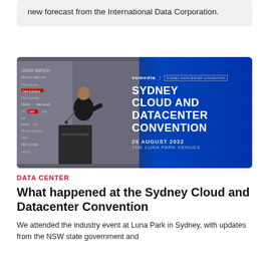new forecast from the International Data Corporation.
[Figure (photo): A speaker at a podium at the Sydney Cloud and Datacenter Convention on 25 August 2022 at The Luna Park Venues, with sponsor logos visible on a banner behind them and the event branding on a blue roll-up banner to the right.]
DATA CENTER
What happened at the Sydney Cloud and Datacenter Convention
We attended the industry event at Luna Park in Sydney, with updates from the NSW state government and